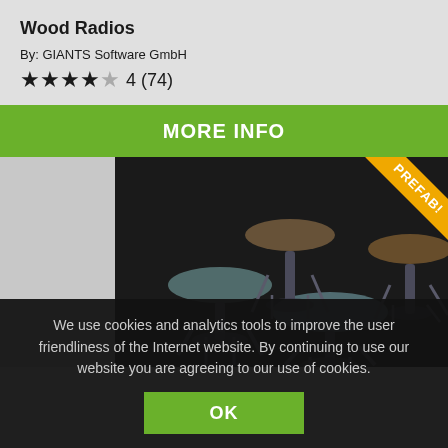Wood Radios
By: GIANTS Software GmbH
★★★★☆ 4 (74)
MORE INFO
[Figure (photo): Four industrial-style stools/bar stools with metal frames and round wooden or metal seats displayed on a dark background. A gold 'PREFAB!' ribbon appears in the top-right corner.]
We use cookies and analytics tools to improve the user friendliness of the Internet website. By continuing to use our website you are agreeing to our use of cookies.
OK